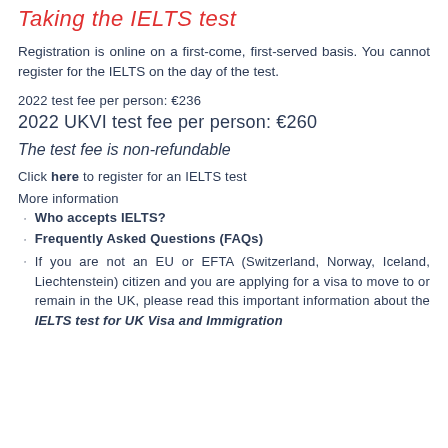Taking the IELTS test
Registration is online on a first-come, first-served basis. You cannot register for the IELTS on the day of the test.
2022 test fee per person: €236
2022 UKVI test fee per person: €260
The test fee is non-refundable
Click here to register for an IELTS test
More information
Who accepts IELTS?
Frequently Asked Questions (FAQs)
If you are not an EU or EFTA (Switzerland, Norway, Iceland, Liechtenstein) citizen and you are applying for a visa to move to or remain in the UK, please read this important information about the IELTS test for UK Visa and Immigration